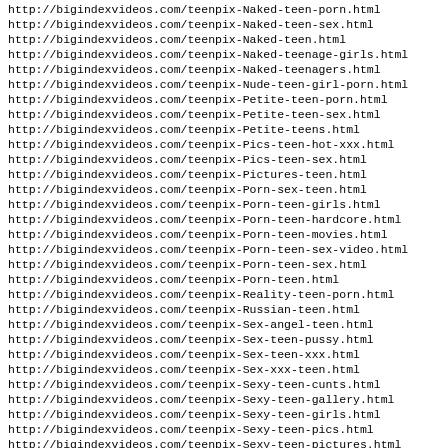http://bigindexvideos.com/teenpix-Naked-teen-porn.html
http://bigindexvideos.com/teenpix-Naked-teen-sex.html
http://bigindexvideos.com/teenpix-Naked-teen.html
http://bigindexvideos.com/teenpix-Naked-teenage-girls.html
http://bigindexvideos.com/teenpix-Naked-teenagers.html
http://bigindexvideos.com/teenpix-Nude-teen-girl-porn.html
http://bigindexvideos.com/teenpix-Petite-teen-porn.html
http://bigindexvideos.com/teenpix-Petite-teen-sex.html
http://bigindexvideos.com/teenpix-Petite-teens.html
http://bigindexvideos.com/teenpix-Pics-teen-hot-xxx.html
http://bigindexvideos.com/teenpix-Pics-teen-sex.html
http://bigindexvideos.com/teenpix-Pictures-teen.html
http://bigindexvideos.com/teenpix-Porn-sex-teen.html
http://bigindexvideos.com/teenpix-Porn-teen-girls.html
http://bigindexvideos.com/teenpix-Porn-teen-hardcore.html
http://bigindexvideos.com/teenpix-Porn-teen-movies.html
http://bigindexvideos.com/teenpix-Porn-teen-sex-video.html
http://bigindexvideos.com/teenpix-Porn-teen-sex.html
http://bigindexvideos.com/teenpix-Porn-teen.html
http://bigindexvideos.com/teenpix-Reality-teen-porn.html
http://bigindexvideos.com/teenpix-Russian-teen.html
http://bigindexvideos.com/teenpix-Sex-angel-teen.html
http://bigindexvideos.com/teenpix-Sex-teen-pussy.html
http://bigindexvideos.com/teenpix-Sex-teen-xxx.html
http://bigindexvideos.com/teenpix-Sex-xxx-teen.html
http://bigindexvideos.com/teenpix-Sexy-teen-cunts.html
http://bigindexvideos.com/teenpix-Sexy-teen-gallery.html
http://bigindexvideos.com/teenpix-Sexy-teen-girls.html
http://bigindexvideos.com/teenpix-Sexy-teen-pics.html
http://bigindexvideos.com/teenpix-Sexy-teen-pictures.html